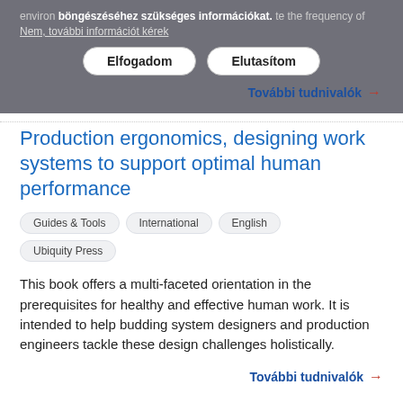environ böngészéséhez szükséges információkat. te the frequency of
Nem, további információt kérek
Elfogadom
Elutasítom
További tudnivalók →
Production ergonomics, designing work systems to support optimal human performance
Guides & Tools   International   English   Ubiquity Press
This book offers a multi-faceted orientation in the prerequisites for healthy and effective human work. It is intended to help budding system designers and production engineers tackle these design challenges holistically.
További tudnivalók →